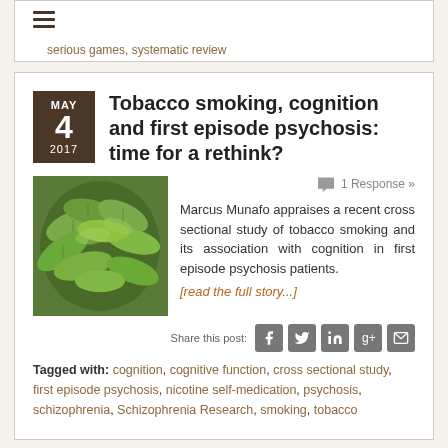serious games, systematic review
Tobacco smoking, cognition and first episode psychosis: time for a rethink?
[Figure (photo): Close-up photo of green tobacco plant leaves]
1 Response »
Marcus Munafo appraises a recent cross sectional study of tobacco smoking and its association with cognition in first episode psychosis patients.
[read the full story...]
Share this post:
Tagged with: cognition, cognitive function, cross sectional study, first episode psychosis, nicotine self-medication, psychosis, schizophrenia, Schizophrenia Research, smoking, tobacco